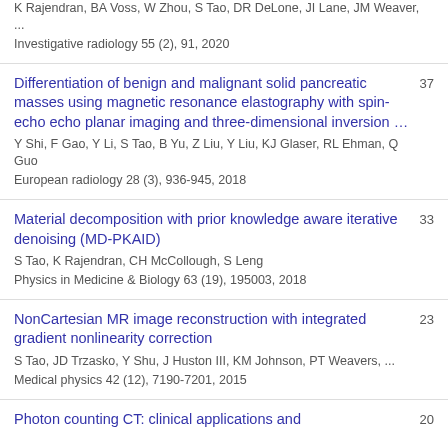K Rajendran, BA Voss, W Zhou, S Tao, DR DeLone, JI Lane, JM Weaver, ...
Investigative radiology 55 (2), 91, 2020
Differentiation of benign and malignant solid pancreatic masses using magnetic resonance elastography with spin-echo echo planar imaging and three-dimensional inversion … | 37
Y Shi, F Gao, Y Li, S Tao, B Yu, Z Liu, Y Liu, KJ Glaser, RL Ehman, Q Guo
European radiology 28 (3), 936-945, 2018
Material decomposition with prior knowledge aware iterative denoising (MD-PKAID) | 33
S Tao, K Rajendran, CH McCollough, S Leng
Physics in Medicine & Biology 63 (19), 195003, 2018
NonCartesian MR image reconstruction with integrated gradient nonlinearity correction | 23
S Tao, JD Trzasko, Y Shu, J Huston III, KM Johnson, PT Weavers, ...
Medical physics 42 (12), 7190-7201, 2015
Photon counting CT: clinical applications and | 20